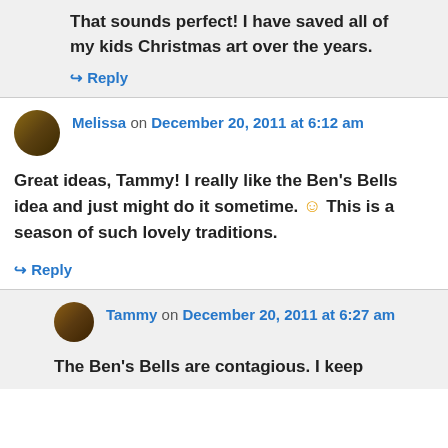That sounds perfect! I have saved all of my kids Christmas art over the years.
↳ Reply
Melissa on December 20, 2011 at 6:12 am
Great ideas, Tammy! I really like the Ben's Bells idea and just might do it sometime. 🙂 This is a season of such lovely traditions.
↳ Reply
Tammy on December 20, 2011 at 6:27 am
The Ben's Bells are contagious. I keep